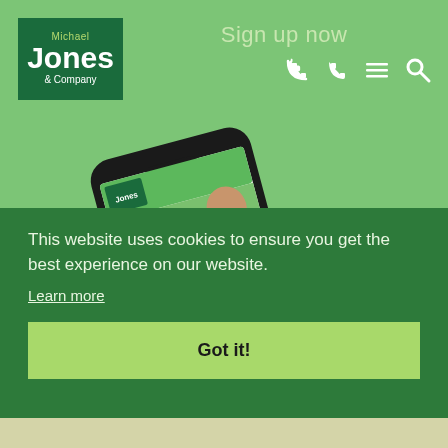[Figure (logo): Michael Jones & Company logo — dark green rectangle with white text]
Sign up now
[Figure (screenshot): A hand holding a smartphone displaying the Michael Jones & Company website with an article titled 'An amazing crew' and a bearded man in a red hat]
This website uses cookies to ensure you get the best experience on our website.
Learn more
Got it!